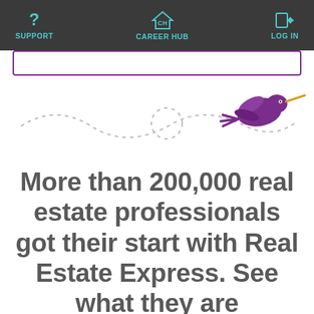SUPPORT  CAREER HUB  LOG IN
[Figure (illustration): Purple hummingbird with yellow beak flying along a dotted curved path]
More than 200,000 real estate professionals got their start with Real Estate Express. See what they are saying.